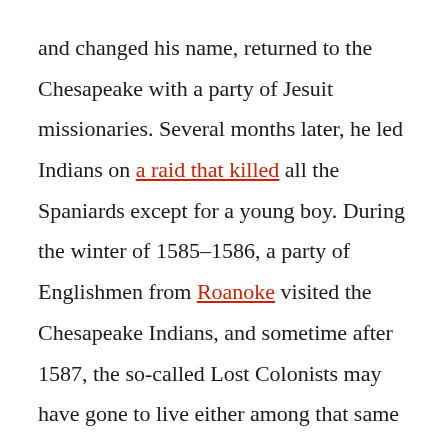and changed his name, returned to the Chesapeake with a party of Jesuit missionaries. Several months later, he led Indians on a raid that killed all the Spaniards except for a young boy. During the winter of 1585–1586, a party of Englishmen from Roanoke visited the Chesapeake Indians, and sometime after 1587, the so-called Lost Colonists may have gone to live either among that same group or with Indians closer to Roanoke. Either way, various Powhatans told the Jamestown settlers that the mamanatowick had ordered